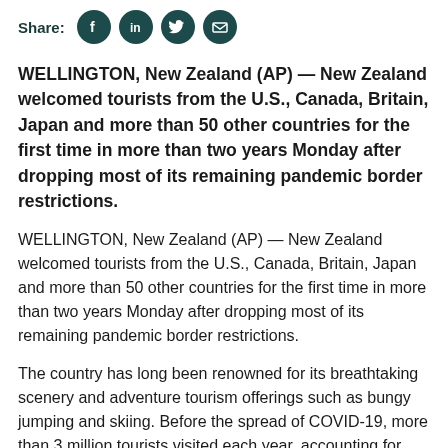Share:
WELLINGTON, New Zealand (AP) — New Zealand welcomed tourists from the U.S., Canada, Britain, Japan and more than 50 other countries for the first time in more than two years Monday after dropping most of its remaining pandemic border restrictions.
WELLINGTON, New Zealand (AP) — New Zealand welcomed tourists from the U.S., Canada, Britain, Japan and more than 50 other countries for the first time in more than two years Monday after dropping most of its remaining pandemic border restrictions.
The country has long been renowned for its breathtaking scenery and adventure tourism offerings such as bungy jumping and skiing. Before the spread of COVID-19, more than 3 million tourists visited each year, accounting for 20% of New Zealand's foreign income and more than 5% of the